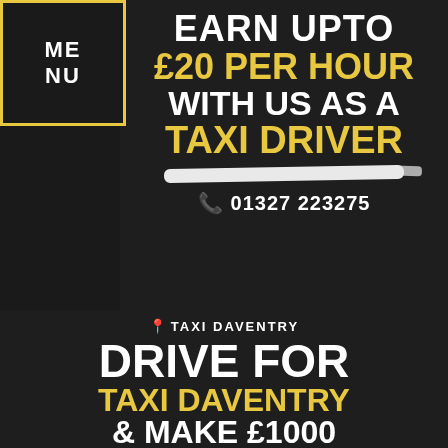ME
NU
EARN UPTO
£20 PER HOUR
WITH US AS A
TAXI DRIVER
📞 01327 223275
📍 TAXI DAVENTRY
DRIVE FOR
TAXI DAVENTRY
& MAKE £1000
EVERY WEEK